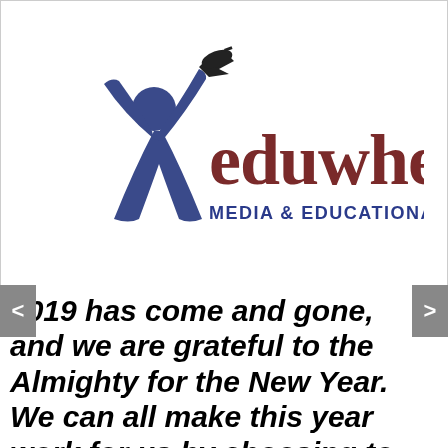[Figure (logo): Eduwheel Media & Educational Services logo — a stylized person figure in dark blue raising one arm with a graduation cap, beside the word 'eduwheel' in dark red serif font and 'MEDIA & EDUCATIONAL SERVICES' in dark blue caps below]
2019 has come and gone, and we are grateful to the Almighty for the New Year. We can all make this year work for us by choosing to follow the right steps, the right...